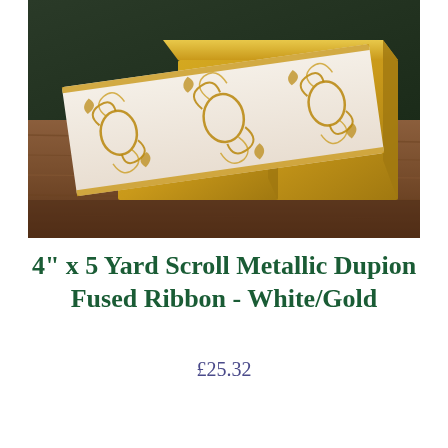[Figure (photo): A white ribbon with gold metallic scroll pattern, rolled on a gold box, displayed on a wooden surface.]
4" x 5 Yard Scroll Metallic Dupion Fused Ribbon - White/Gold
£25.32